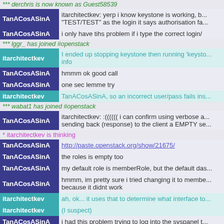*** derchris is now known as Guest58539
TanACosASinA: yerp i know keystone is working, b... "TEST/TEST" as the login it says authorisation fa...
TanACosASinA i only have tihs problem if i type the correct login/
*** lggr_ has joined #openstack
itarchitectkev I ended up stopping keystone then running 'keysto... info
TanACosASinA hmmm ok good call
TanACosASinA one sec lemme try
itarchitectkev TanACosASinA, so an incorrect user/pass fails ins...
*** wabat1 has joined #openstack
TanACosASinA itarchitectkev: :(((((( i can confirm using verbose a... sending back (response) to the client a EMPTY se...
* itarchitectkev is thinking
TanACosASinA http://paste.openstack.org/show/21675/
TanACosASinA the roles is empty too
TanACosASinA my default role is memberRole, but the default das...
TanACosASinA hmmm, im pretty sure i tried changing it to membe... because it didnt work
itarchitectkev ah, ok... it uses that to determine what interface to...
itarchitectkev (I suspect)
TanACosASinA i had this problem trying to log into the syspanel t...